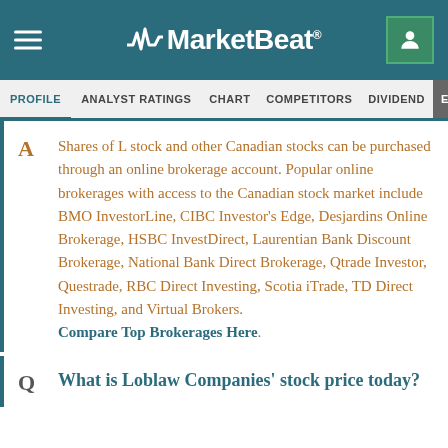MarketBeat
PROFILE  ANALYST RATINGS  CHART  COMPETITORS  DIVIDEND  EARNINGS
A  Shares of L stock and other Canadian stocks can be purchased through an online brokerage account. Popular online brokerages with access to the Canadian stock market include BMO InvestorLine, CIBC Investor's Edge, Desjardins Online Brokerage, HSBC InvestDirect, Laurentian Bank Discount Brokerage, National Bank Direct Brokerage, Qtrade Investor, Questrade, RBC Direct Investing, Scotia iTrade, TD Direct Investing, and Virtual Brokers. Compare Top Brokerages Here.
Q  What is Loblaw Companies' stock price today?